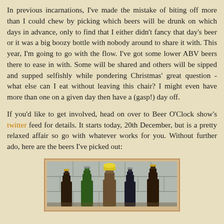In previous incarnations, I've made the mistake of biting off more than I could chew by picking which beers will be drunk on which days in advance, only to find that I either didn't fancy that day's beer or it was a big boozy bottle with nobody around to share it with. This year, I'm going to go with the flow. I've got some lower ABV beers there to ease in with. Some will be shared and others will be sipped and supped selfishly while pondering Christmas' great question - what else can I eat without leaving this chair? I might even have more than one on a given day then have a (gasp!) day off.
If you'd like to get involved, head on over to Beer O'Clock show's twitter feed for details. It starts today, 20th December, but is a pretty relaxed affair so go with whatever works for you. Without further ado, here are the beers I've picked out:
[Figure (photo): Photo showing several beer bottles of different colors (dark, green, yellow-topped, dark) lined up against a white tiled wall background]